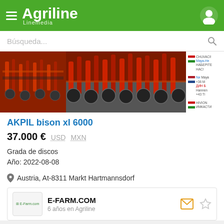Agriline Linemedia
Búsqueda...
[Figure (photo): Three images showing red agricultural disc harrow machinery. Left: close-up of red disc harrow. Center: wider view of red disc harrow. Right: contact information panel with Hungarian and Dutch flags.]
AKPIL bison xl 6000
37.000 €   USD   MXN
Grada de discos
Año: 2022-08-08
Austria, At-8311 Markt Hartmannsdorf
E-FARM.COM
6 años en Agriline
[Figure (photo): Three thumbnail images at the bottom of the page showing agricultural machinery listings.]